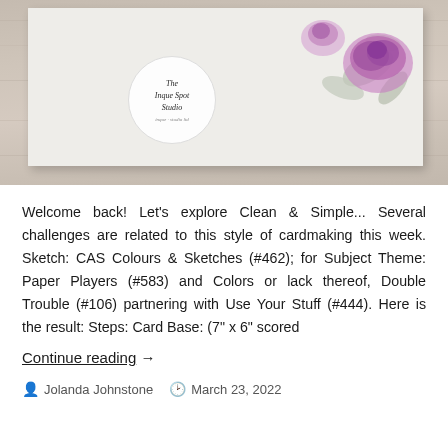[Figure (photo): Photo of a handmade greeting card on a wooden table surface. The card features purple roses and leaves decoration on the upper right. A circular logo overlay reads 'The Inque Spot Studio' in italic text.]
Welcome back!  Let’s explore Clean & Simple... Several challenges are related to this style of cardmaking this week. Sketch: CAS Colours & Sketches (#462); for Subject Theme: Paper Players (#583) and Colors or lack thereof, Double Trouble (#106) partnering with Use Your Stuff (#444). Here is the result: Steps: Card Base: (7” x 6” scored
Continue reading →
Jolanda Johnstone   ⌚ March 23, 2022